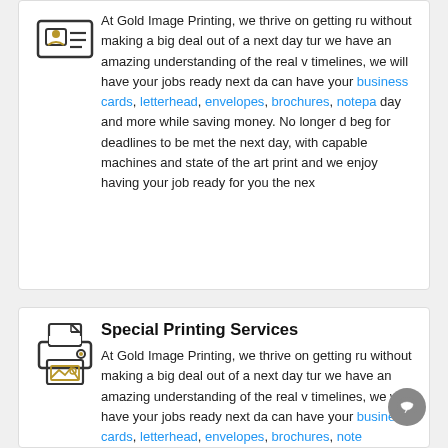[Figure (illustration): Icon of a person/ID card with lines, representing business cards or ID printing service]
At Gold Image Printing, we thrive on getting ru without making a big deal out of a next day tur we have an amazing understanding of the real v timelines, we will have your jobs ready next da can have your business cards, letterhead, envelopes, brochures, notepa day and more while saving money. No longer d beg for deadlines to be met the next day, with capable machines and state of the art print and we enjoy having your job ready for you the nex
[Figure (illustration): Icon of a printer with a landscape image being printed, representing special printing services]
Special Printing Services
At Gold Image Printing, we thrive on getting ru without making a big deal out of a next day tur we have an amazing understanding of the real v timelines, we will have your jobs ready next da can have your business cards, letterhead, envelopes, brochures, note